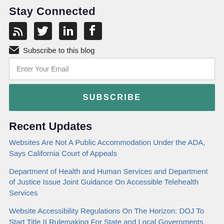Stay Connected
[Figure (infographic): Social media icons: RSS feed, Twitter, LinkedIn, Facebook]
Subscribe to this blog
Enter Your Email
SUBSCRIBE
Recent Updates
Websites Are Not A Public Accommodation Under the ADA, Says California Court of Appeals
Department of Health and Human Services and Department of Justice Issue Joint Guidance On Accessible Telehealth Services
Website Accessibility Regulations On The Horizon: DOJ To Start Title II Rulemaking For State and Local Governments